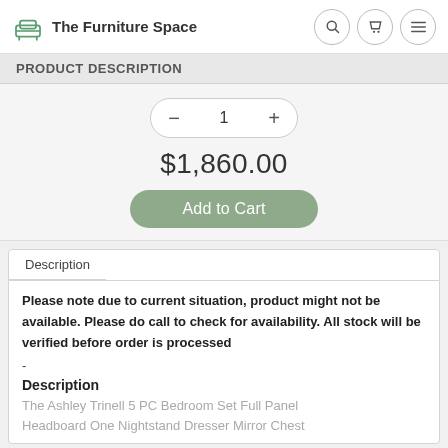The Furniture Space
PRODUCT DESCRIPTION
1
$1,860.00
Add to Cart
Description
Please note due to current situation, product might not be available. Please do call to check for availability. All stock will be verified before order is processed
-
Description
The Ashley Trinell 5 PC Bedroom Set Full Panel Headboard One Nightstand Dresser Mirror Chest